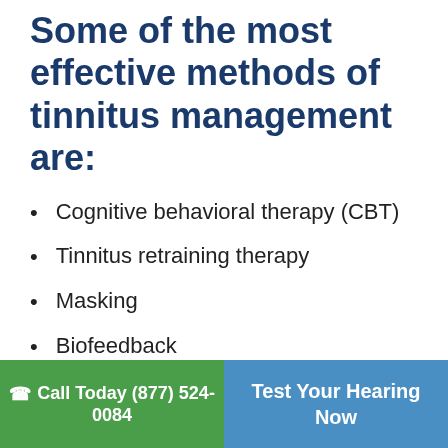Some of the most effective methods of tinnitus management are:
Cognitive behavioral therapy (CBT)
Tinnitus retraining therapy
Masking
Biofeedback
There are countless treatment options, but they vary in effectiveness depending
Call Today (877) 524-0084  |  Test Your Hearing Now